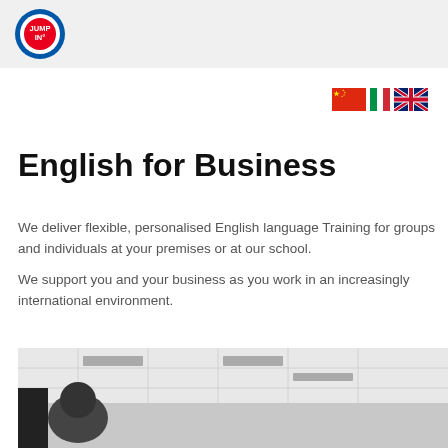JUMP IN logo
[Figure (illustration): Three country flags: China, Italy, UK]
English for Business
We deliver flexible, personalised English language Training for groups and individuals at your premises or at our school.
We support you and your business as you work in an increasingly international environment.
[Figure (photo): Photo of a classroom or meeting room with a person from behind and white ceiling tiles]